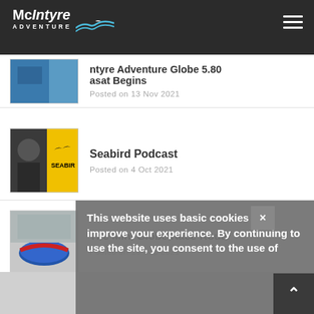McIntyre Adventure
ntyre Adventure Globe 5.80 asat Begins
Posted on 13 Nov 2021
Seabird Podcast
Posted on 4 Oct 2021
The Mini Globe Race Route
Posted on 19 Sep 2021
This website uses basic cookies to improve your experience. By continuing to use the site, you consent to the use of